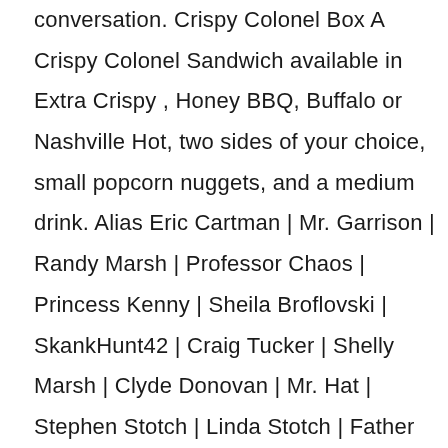conversation. Crispy Colonel Box A Crispy Colonel Sandwich available in Extra Crispy , Honey BBQ, Buffalo or Nashville Hot, two sides of your choice, small popcorn nuggets, and a medium drink. Alias Eric Cartman | Mr. Garrison | Randy Marsh | Professor Chaos | Princess Kenny | Sheila Broflovski | SkankHunt42 | Craig Tucker | Shelly Marsh | Clyde Donovan | Mr. Hat | Stephen Stotch | Linda Stotch | Father Maxi | Harrison Yates | Heidi Turner | PC Principal | Scott Tenorman | Chef | Woodland Critters | Mitch Conner | Big Bad Government Guy | Manbearpig | Nathan | Mimsy | Tad Mikowsky | Jenkins the Griefer | Leslie Meyers | Kevin | Lennart Bedrager | Scott the Dick | Canadian President | Trent